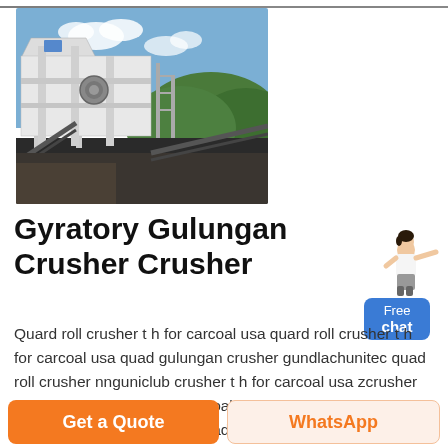[Figure (photo): Industrial gyratory/roller crusher machinery at an outdoor mining site, large white metal structure with conveyor belts and green hills in background]
Gyratory Gulungan Crusher Crusher
Quard roll crusher t h for carcoal usa quard roll crusher t h for carcoal usa quad gulungan crusher gundlachunitec quad roll crusher nnguniclub crusher t h for carcoal usa zcrusher quard roll crusher t h for carcoal usa photos of rock crushers and power screens unitec quad roll crusher quad rolls roll
Get a Quote
WhatsApp